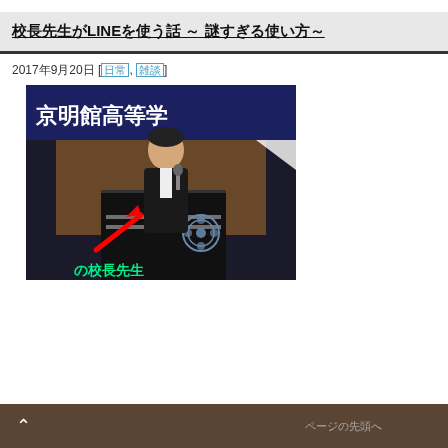校長先生がLINEを使う話
2017年9月20日 [日常, 雑談]
[Figure (photo): A man in a dark suit speaking at a podium with a microphone, in front of a banner with Japanese characters reading 京明館高等学校. A red arrow points to text at the bottom reading の校長先生.]
ページの先頭へ